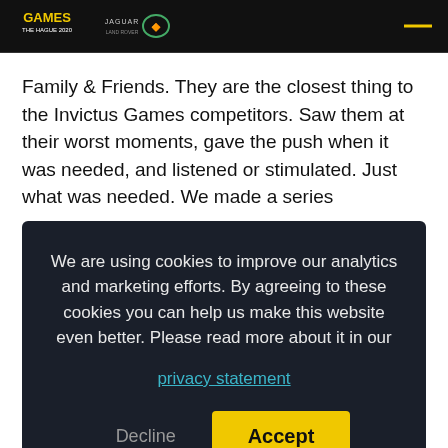Invictus Games The Hague 2020 / Jaguar Land Rover logos and menu
Family & Friends. They are the closest thing to the Invictus Games competitors. Saw them at their worst moments, gave the push when it was needed, and listened or stimulated. Just what was needed. We made a series
We are using cookies to improve our analytics and marketing efforts. By agreeing to these cookies you can help us make this website even better. Please read more about it in our privacy statement
problems with his back for years, which was one of the